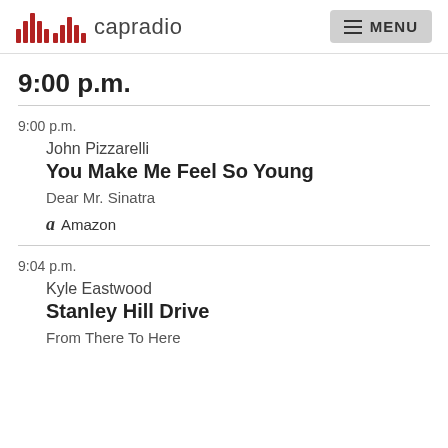capradio  MENU
9:00 p.m.
9:00 p.m.
John Pizzarelli
You Make Me Feel So Young
Dear Mr. Sinatra
Amazon
9:04 p.m.
Kyle Eastwood
Stanley Hill Drive
From There To Here